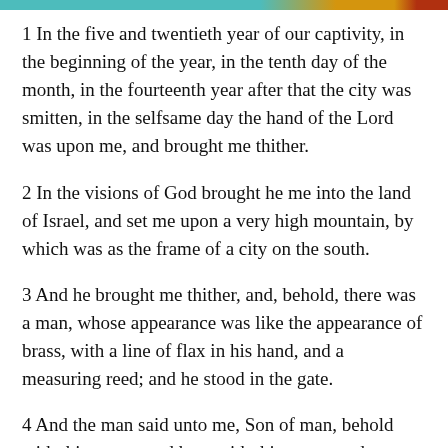[decorative color bar]
1 In the five and twentieth year of our captivity, in the beginning of the year, in the tenth day of the month, in the fourteenth year after that the city was smitten, in the selfsame day the hand of the Lord was upon me, and brought me thither.
2 In the visions of God brought he me into the land of Israel, and set me upon a very high mountain, by which was as the frame of a city on the south.
3 And he brought me thither, and, behold, there was a man, whose appearance was like the appearance of brass, with a line of flax in his hand, and a measuring reed; and he stood in the gate.
4 And the man said unto me, Son of man, behold with thine eyes, and hear with thine ears, and set thine heart upon all that I shall shew thee; for to the intent that I might shew